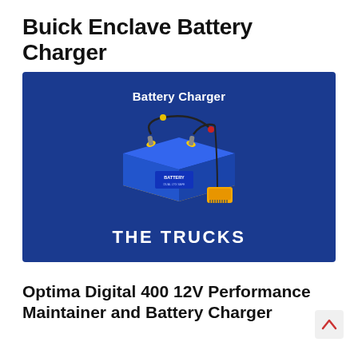Buick Enclave Battery Charger
[Figure (illustration): Blue background banner illustration showing an isometric blue and yellow battery connected by cables to a small yellow battery charger device, with text 'Battery Charger' at top and 'THE TRUCKS' in large white bold letters at bottom.]
Optima Digital 400 12V Performance Maintainer and Battery Charger